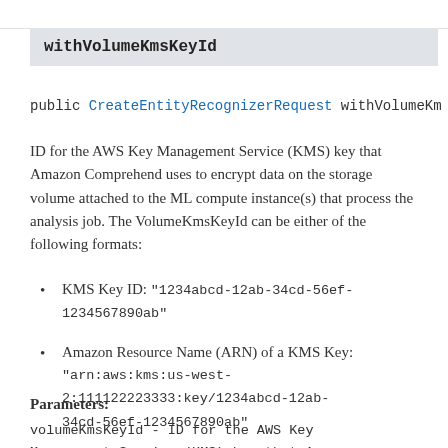withVolumeKmsKeyId
public CreateEntityRecognizerRequest withVolumeKm
ID for the AWS Key Management Service (KMS) key that Amazon Comprehend uses to encrypt data on the storage volume attached to the ML compute instance(s) that process the analysis job. The VolumeKmsKeyId can be either of the following formats:
KMS Key ID: "1234abcd-12ab-34cd-56ef-1234567890ab"
Amazon Resource Name (ARN) of a KMS Key: "arn:aws:kms:us-west-2:111122223333:key/1234abcd-12ab-34cd-56ef-1234567890ab"
Parameters:
volumeKmsKeyId - ID for the AWS Key Management Service (KMS) key that Amazon Comprehend uses to encrypt data on the